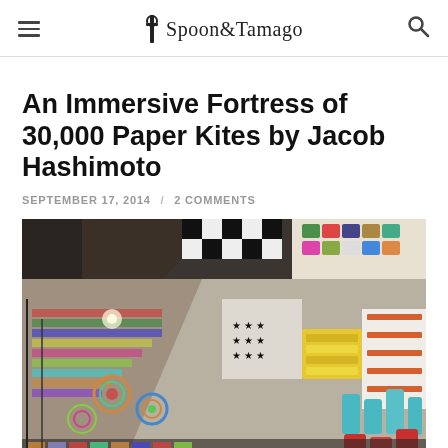Spoon&Tamago
An Immersive Fortress of 30,000 Paper Kites by Jacob Hashimoto
SEPTEMBER 17, 2014 / 2 COMMENTS
[Figure (photo): Interior photograph of a large art installation consisting of thousands of colorful paper kites hanging from the ceiling, creating an immersive fortress-like environment. The kites display various patterns including stars, geometric shapes, and colorful designs in many colors.]